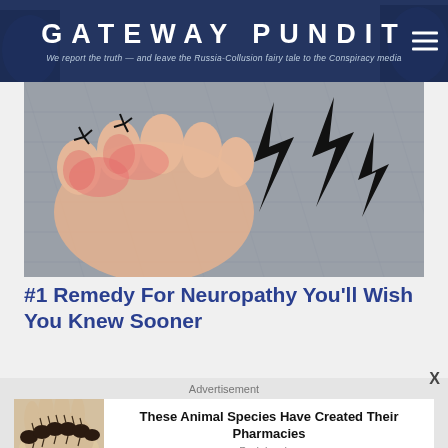GATEWAY PUNDIT — We report the truth — and leave the Russia-Collusion fairy tale to the Conspiracy media
[Figure (photo): Close-up of a human foot with toes, overlaid with black lightning bolt graphics indicating pain, resting on gray denim fabric. Pink/red coloring on the skin suggests inflammation.]
#1 Remedy For Neuropathy You'll Wish You Knew Sooner
Advertisement
[Figure (photo): A hand holding a dark fuzzy caterpillar against a light background.]
These Animal Species Have Created Their Pharmacies
Brainberries